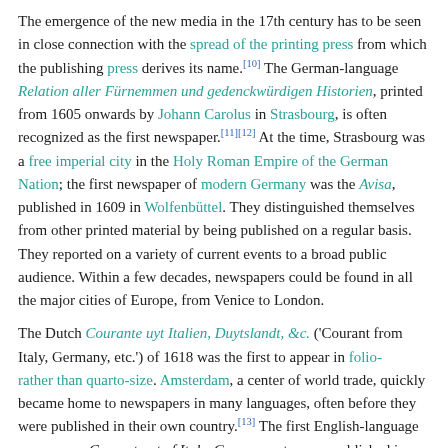The emergence of the new media in the 17th century has to be seen in close connection with the spread of the printing press from which the publishing press derives its name.[10] The German-language Relation aller Fürnemmen und gedenckwürdigen Historien, printed from 1605 onwards by Johann Carolus in Strasbourg, is often recognized as the first newspaper.[11][12] At the time, Strasbourg was a free imperial city in the Holy Roman Empire of the German Nation; the first newspaper of modern Germany was the Avisa, published in 1609 in Wolfenbüttel. They distinguished themselves from other printed material by being published on a regular basis. They reported on a variety of current events to a broad public audience. Within a few decades, newspapers could be found in all the major cities of Europe, from Venice to London.
The Dutch Courante uyt Italien, Duytslandt, &c. ('Courant from Italy, Germany, etc.') of 1618 was the first to appear in folio- rather than quarto-size. Amsterdam, a center of world trade, quickly became home to newspapers in many languages, often before they were published in their own country.[13] The first English-language newspaper, Corrant out of Italy, Germany, etc., was published in Amsterdam in 1620. A year and a half later, Corante, or weekely newes from Italy, Germany, Hungary, Poland, Bohemia, France and the Low Countreys. was published in England by... "N.B" (to recall, the note taken with a Net-laid...